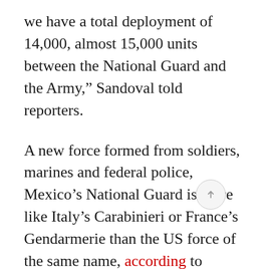we have a total deployment of 14,000, almost 15,000 units between the National Guard and the Army,” Sandoval told reporters.
A new force formed from soldiers, marines and federal police, Mexico’s National Guard is more like Italy’s Carabinieri or France’s Gendarmerie than the US force of the same name, according to Mexico’s ambassador to the US.
But Mexican President Andres